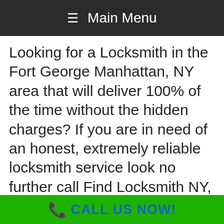≡ Main Menu
Looking for a Locksmith in the Fort George Manhattan, NY area that will deliver 100% of the time without the hidden charges? If you are in need of an honest, extremely reliable locksmith service look no further call Find Locksmith NY, servicing all areas in Fort George Manhattan, NY, between Nagle Avenue, Dyckman St and 192nd Street (includes Broadway south to Fairview Avenue). Find Locksmith NY has been servicing the NY area for over 20 Years and is a name that can be trusted.
Whether your are locked out of your car or
📞 CALL US NOW!